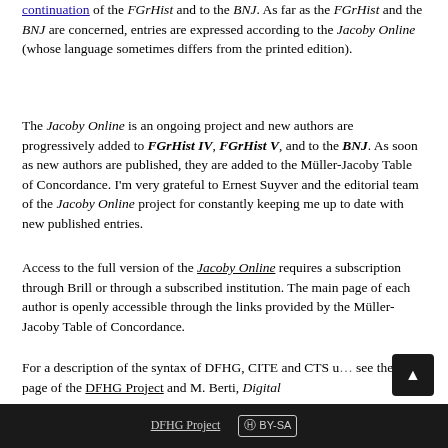continuation of the FGrHist and to the BNJ. As far as the FGrHist and the BNJ are concerned, entries are expressed according to the Jacoby Online (whose language sometimes differs from the printed edition).
The Jacoby Online is an ongoing project and new authors are progressively added to FGrHist IV, FGrHist V, and to the BNJ. As soon as new authors are published, they are added to the Müller-Jacoby Table of Concordance. I'm very grateful to Ernest Suyver and the editorial team of the Jacoby Online project for constantly keeping me up to date with new published entries.
Access to the full version of the Jacoby Online requires a subscription through Brill or through a subscribed institution. The main page of each author is openly accessible through the links provided by the Müller-Jacoby Table of Concordance.
For a description of the syntax of DFHG, CITE and CTS u... see the main page of the DFHG Project and M. Berti, Digital
DFHG Project    CC BY-SA